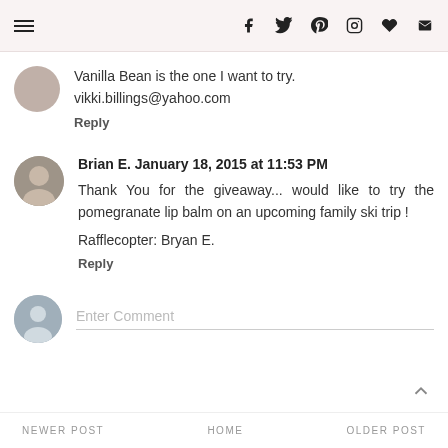Navigation menu and social icons: f (Facebook), Twitter, Pinterest, Instagram, heart, mail
Vanilla Bean is the one I want to try.
vikki.billings@yahoo.com
Reply
Brian E. January 18, 2015 at 11:53 PM
Thank You for the giveaway... would like to try the pomegranate lip balm on an upcoming family ski trip !
Rafflecopter: Bryan E.
Reply
Enter Comment
NEWER POST    HOME    OLDER POST